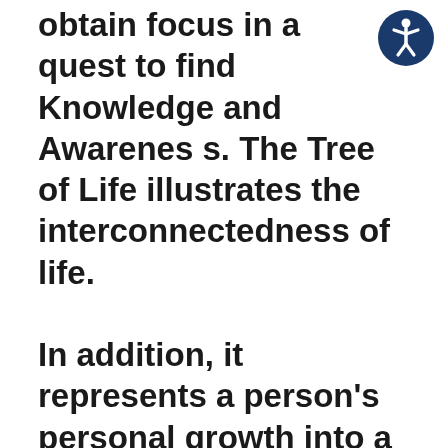obtain focus in a quest to find Knowledge and Awareness. The Tree of Life illustrates the interconnectedness of life.

In addition, it represents a person's personal growth into a unique human being as different experiences shape them into who they truly are. Moreover, it signifies Rebirth.
[Figure (illustration): Accessibility icon: a circular dark blue badge with a white stick figure in a dynamic pose with arms outstretched]